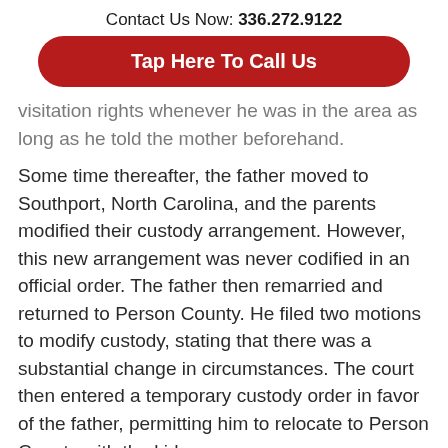Contact Us Now: 336.272.9122
Tap Here To Call Us
visitation rights whenever he was in the area as long as he told the mother beforehand.
Some time thereafter, the father moved to Southport, North Carolina, and the parents modified their custody arrangement. However, this new arrangement was never codified in an official order. The father then remarried and returned to Person County. He filed two motions to modify custody, stating that there was a substantial change in circumstances. The court then entered a temporary custody order in favor of the father, permitting him to relocate to Person County with the kids.